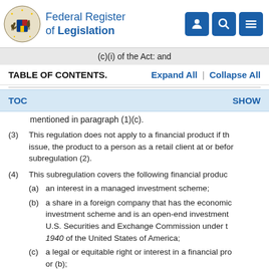Federal Register of Legislation
(c)(i) of the Act: and
TABLE OF CONTENTS.   Expand All  |  Collapse All
TOC   SHOW
mentioned in paragraph (1)(c).
(3) This regulation does not apply to a financial product if th issue, the product to a person as a retail client at or befor subregulation (2).
(4) This subregulation covers the following financial produc
(a) an interest in a managed investment scheme;
(b) a share in a foreign company that has the economic investment scheme and is an open-end investment U.S. Securities and Exchange Commission under t 1940 of the United States of America;
(c) a legal or equitable right or interest in a financial pro or (b);